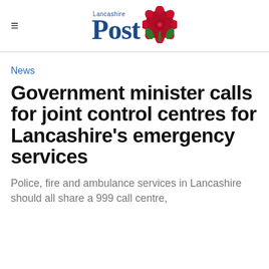Lancashire Post
News
Government minister calls for joint control centres for Lancashire's emergency services
Police, fire and ambulance services in Lancashire should all share a 999 call centre,